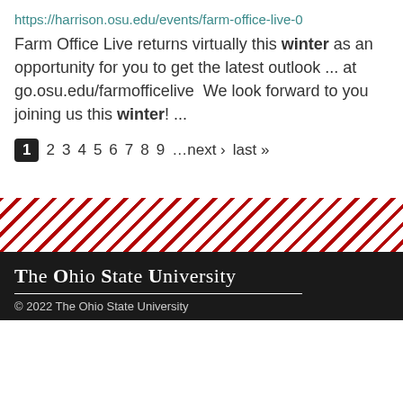https://harrison.osu.edu/events/farm-office-live-0
Farm Office Live returns virtually this winter as an opportunity for you to get the latest outlook ... at go.osu.edu/farmofficelive  We look forward to you joining us this winter! ...
1 2 3 4 5 6 7 8 9 …next › last »
[Figure (other): Diagonal red and white striped decorative band]
The Ohio State University
© 2022 The Ohio State University